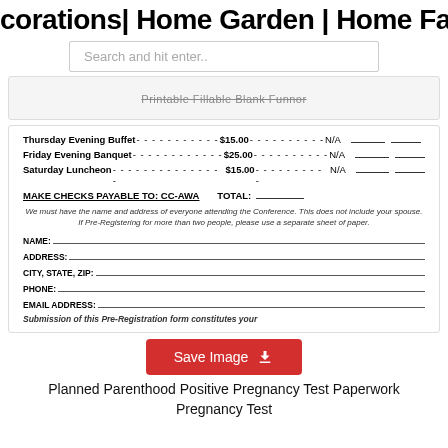corations| Home Garden | Home Far
Search and hit enter..
Printable Fillable Blank Funnor
Thursday Evening Buffet - - - - - - - - - - - $15.00 - - - - - - - - - - N/A
Friday Evening Banquet - - - - - - - - - - - - $25.00 - - - - - - - - - - N/A
Saturday Luncheon - - - - - - - - - - - - - - - $15.00 - - - - - - - - - - N/A
MAKE CHECKS PAYABLE TO: CC-AWA    TOTAL:
We must have the name and address of everyone attending the Conference. This does not include your spouse. If Pre-Registering for more than two people, please use a separate sheet of paper.
NAME:
ADDRESS:
CITY, STATE, ZIP:
PHONE:
EMAIL ADDRESS:
Submission of this Pre-Registration form constitutes your
Save Image
Planned Parenthood Positive Pregnancy Test Paperwork Pregnancy Test